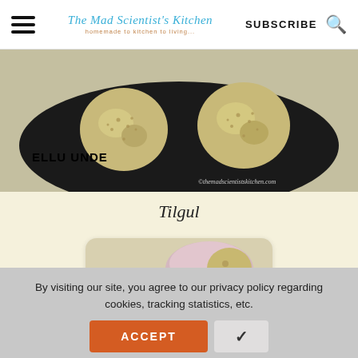The Mad Scientist's Kitchen | SUBSCRIBE
[Figure (photo): Close-up photo of sesame seed balls (ellu unde) on a dark plate with text overlay 'ELLU UNDE' and watermark 'themadscientistskitchen.com']
Tilgul
[Figure (photo): Photo of tilgul (sesame jaggery balls) on a plate with text overlay 'TilGul']
By visiting our site, you agree to our privacy policy regarding cookies, tracking statistics, etc.